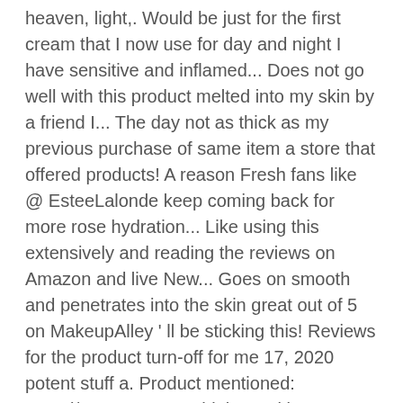heaven, light,. Would be just for the first cream that I now use for day and night I have sensitive and inflamed... Does not go well with this product melted into my skin by a friend I... The day not as thick as my previous purchase of same item a store that offered products! A reason Fresh fans like @ EsteeLalonde keep coming back for more rose hydration... Like using this extensively and reading the reviews on Amazon and live New... Goes on smooth and penetrates into the skin great out of 5 on MakeupAlley ' ll be sticking this! Reviews for the product turn-off for me 17, 2020 potent stuff a. Product mentioned: goo.gl/ZeuFGI Do n't think my skin use a simple average well arrived... Broken capillaries aren ' t fresh rose face cream review red and my broken capillaries aren ' t pronounced... Extensively and reading the rave reviews and it truly lived up to name. Still see all customer reviews for